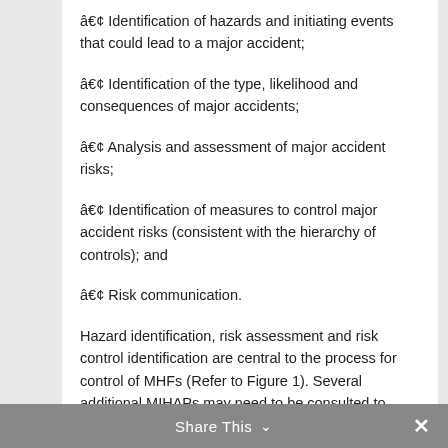• Identification of hazards and initiating events that could lead to a major accident;
• Identification of the type, likelihood and consequences of major accidents;
• Analysis and assessment of major accident risks;
• Identification of measures to control major accident risks (consistent with the hierarchy of controls); and
• Risk communication.
Hazard identification, risk assessment and risk control identification are central to the process for control of MHFs (Refer to Figure 1). Several additional MIHAPs may need to be consulted to address related issues that are
Share This ∨  ✕